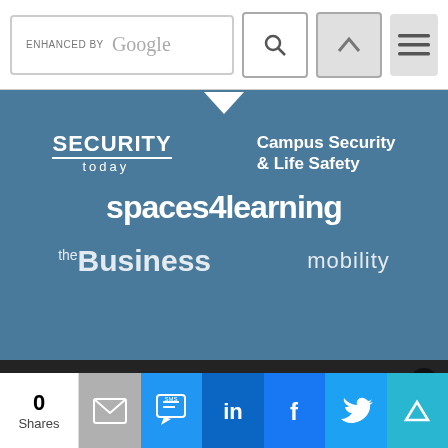[Figure (screenshot): Search bar with 'ENHANCED BY Google' text, search icon button, up-arrow icon button, and hamburger menu button]
[Figure (logo): Blue banner with logos: SECURITY today, Campus Security & Life Safety, spaces4learning, and partial logos for Business and mobility]
We use cookies to deliver the best possible experience on our website. By continuing to use this site, accepting or closing this box, you consent to our use of cookies. To learn more, visit our privacy policy.
[Figure (infographic): Social share bar with 0 Shares, email, SMS, LinkedIn, Facebook, Twitter, and another share icon]